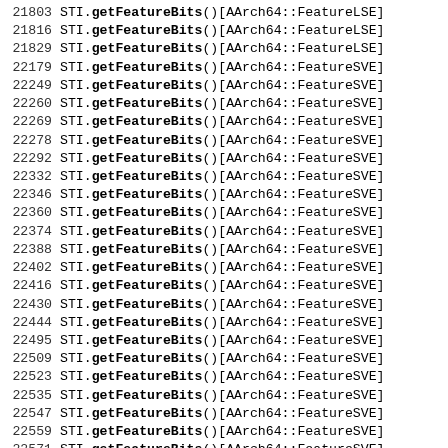21803    STI.getFeatureBits()[AArch64::FeatureLSE]
21816    STI.getFeatureBits()[AArch64::FeatureLSE]
21829    STI.getFeatureBits()[AArch64::FeatureLSE]
22179    STI.getFeatureBits()[AArch64::FeatureSVE]
22249    STI.getFeatureBits()[AArch64::FeatureSVE]
22260    STI.getFeatureBits()[AArch64::FeatureSVE]
22269    STI.getFeatureBits()[AArch64::FeatureSVE]
22278    STI.getFeatureBits()[AArch64::FeatureSVE]
22292    STI.getFeatureBits()[AArch64::FeatureSVE]
22332    STI.getFeatureBits()[AArch64::FeatureSVE]
22346    STI.getFeatureBits()[AArch64::FeatureSVE]
22360    STI.getFeatureBits()[AArch64::FeatureSVE]
22374    STI.getFeatureBits()[AArch64::FeatureSVE]
22388    STI.getFeatureBits()[AArch64::FeatureSVE]
22402    STI.getFeatureBits()[AArch64::FeatureSVE]
22416    STI.getFeatureBits()[AArch64::FeatureSVE]
22430    STI.getFeatureBits()[AArch64::FeatureSVE]
22444    STI.getFeatureBits()[AArch64::FeatureSVE]
22495    STI.getFeatureBits()[AArch64::FeatureSVE]
22509    STI.getFeatureBits()[AArch64::FeatureSVE]
22523    STI.getFeatureBits()[AArch64::FeatureSVE]
22535    STI.getFeatureBits()[AArch64::FeatureSVE]
22547    STI.getFeatureBits()[AArch64::FeatureSVE]
22559    STI.getFeatureBits()[AArch64::FeatureSVE]
22571    STI.getFeatureBits()[AArch64::FeatureSVE]
22583    STI.getFeatureBits()[AArch64::FeatureSVE]
22595    STI.getFeatureBits()[AArch64::FeatureSVE]
22607    STI.getFeatureBits()[AArch64::FeatureSVE]
22619    STI.getFeatureBits()[AArch64::FeatureSVE]
22782    STI.getFeatureBits()[AArch64::FeatureSVE]